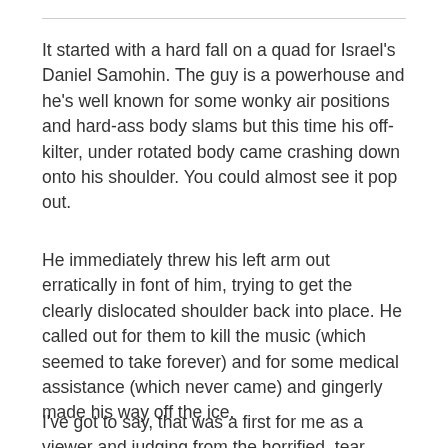It started with a hard fall on a quad for Israel's Daniel Samohin. The guy is a powerhouse and he's well known for some wonky air positions and hard-ass body slams but this time his off-kilter, under rotated body came crashing down onto his shoulder. You could almost see it pop out.
He immediately threw his left arm out erratically in font of him, trying to get the clearly dislocated shoulder back into place. He called out for them to kill the music (which seemed to take forever) and for some medical assistance (which never came) and gingerly made his way off the ice.
I've got to say, that was a first for me as a viewer and judging from the horrified, tear